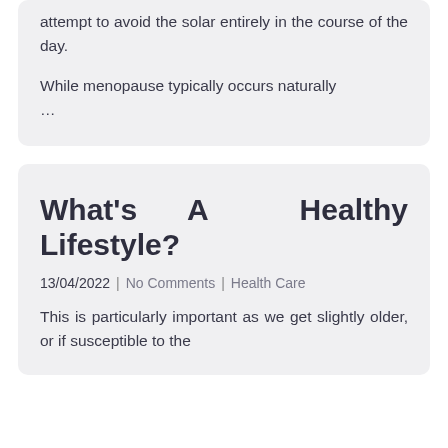attempt to avoid the solar entirely in the course of the day.
While menopause typically occurs naturally …
What's A Healthy Lifestyle?
13/04/2022 | No Comments | Health Care
This is particularly important as we get slightly older, or if susceptible to the